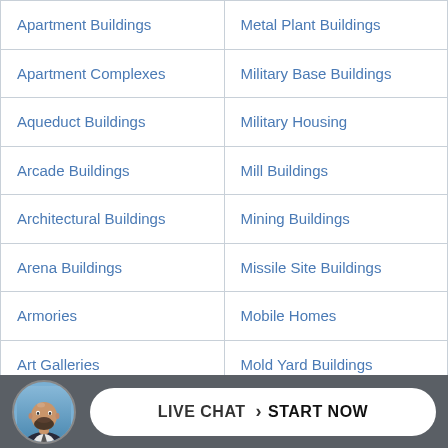| Apartment Buildings | Metal Plant Buildings |
| Apartment Complexes | Military Base Buildings |
| Aqueduct Buildings | Military Housing |
| Arcade Buildings | Mill Buildings |
| Architectural Buildings | Mining Buildings |
| Arena Buildings | Missile Site Buildings |
| Armories | Mobile Homes |
| Art Galleries | Mold Yard Buildings |
| Asbestos Plant Buildings | Monasteries |
| Asphalt Plant Buildings | Monument Buildings |
[Figure (other): Live chat widget with a photo of a bald man with a beard in a suit, and a white pill-shaped button reading 'LIVE CHAT > START NOW' on a dark gray background bar.]